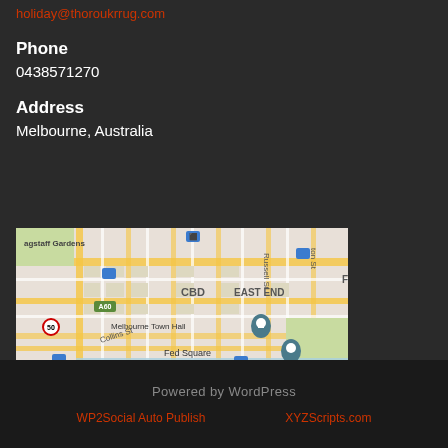holiday@thoroukrrug.com
Phone
0438571270
Address
Melbourne, Australia
[Figure (map): Google Maps view of Melbourne CBD area showing flagstaff Gardens, CBD, Melbourne Town Hall, East End, Fed Square, Yarra River, Collins St and surrounding streets]
Powered by WordPress
WP2Social Auto Publish
XYZScripts.com